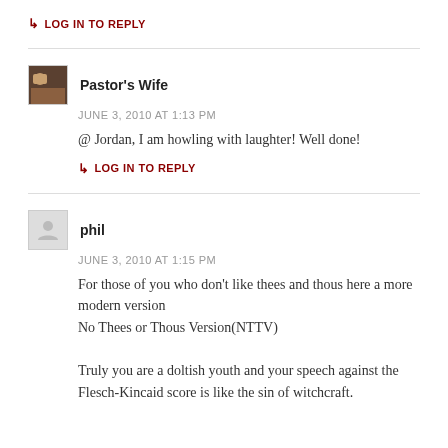LOG IN TO REPLY
Pastor's Wife
JUNE 3, 2010 AT 1:13 PM
@ Jordan, I am howling with laughter! Well done!
LOG IN TO REPLY
phil
JUNE 3, 2010 AT 1:15 PM
For those of you who don't like thees and thous here a more modern version
No Thees or Thous Version(NTTV)

Truly you are a doltish youth and your speech against the Flesch-Kincaid score is like the sin of witchcraft.